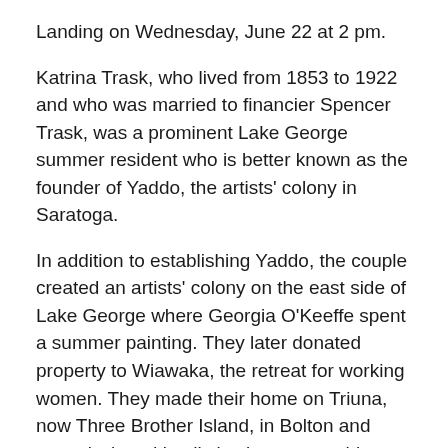Landing on Wednesday, June 22 at 2 pm.
Katrina Trask, who lived from 1853 to 1922 and who was married to financier Spencer Trask, was a prominent Lake George summer resident who is better known as the founder of Yaddo, the artists' colony in Saratoga.
In addition to establishing Yaddo, the couple created an artists' colony on the east side of Lake George where Georgia O'Keeffe spent a summer painting. They later donated property to Wiawaka, the retreat for working women. They made their home on Triuna, now Three Brother Island, in Bolton and commissioned its distinctive, neo-gothic architecture. She was also the author of more than a dozen books.
Trask was also responsible for the monument to Peace on Diamond Island, which she purchased in 1901 and which is now publicly owned.